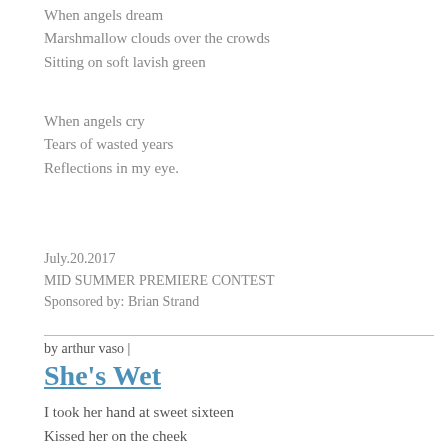When angels dream
Marshmallow clouds over the crowds
Sitting on soft lavish green
When angels cry
Tears of wasted years
Reflections in my eye.
July.20.2017
MID SUMMER PREMIERE CONTEST
Sponsored by: Brian Strand
by arthur vaso |
She's Wet
I took her hand at sweet sixteen
Kissed her on the cheek
The clouds looked down
We were about to be drowned